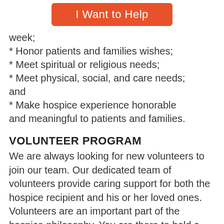[Figure (other): Orange button labeled 'I Want to Help']
week;
* Honor patients and families wishes;
* Meet spiritual or religious needs;
* Meet physical, social, and care needs; and
* Make hospice experience honorable and meaningful to patients and families.
VOLUNTEER PROGRAM
We are always looking for new volunteers to join our team. Our dedicated team of volunteers provide caring support for both the hospice recipient and his or her loved ones. Volunteers are an important part of the hospice philosophy. You are there to hold a hand and listen, read or write a letter, run errands or even help out in